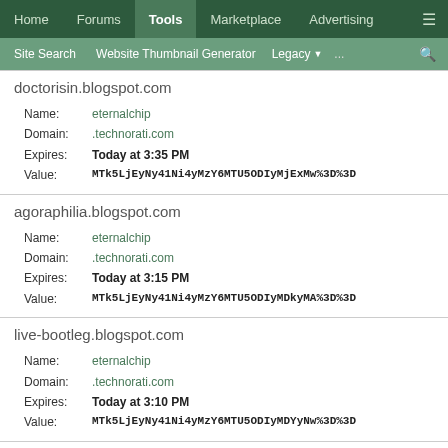Home | Forums | Tools | Marketplace | Advertising | ≡
Site Search | Website Thumbnail Generator | Legacy ▼ | ... | 🔍
doctorisin.blogspot.com
Name: eternalchip
Domain: .technorati.com
Expires: Today at 3:35 PM
Value: MTk5LjEyNy41Ni4yMzY6MTU5ODIyMjExMw%3D%3D
agoraphilia.blogspot.com
Name: eternalchip
Domain: .technorati.com
Expires: Today at 3:15 PM
Value: MTk5LjEyNy41Ni4yMzY6MTU5ODIyMDkyMA%3D%3D
live-bootleg.blogspot.com
Name: eternalchip
Domain: .technorati.com
Expires: Today at 3:10 PM
Value: MTk5LjEyNy41Ni4yMzY6MTU5ODIyMDYyNw%3D%3D
jazzbabes.blogspot.com
Name: eternalchip
Domain: .technorati.com